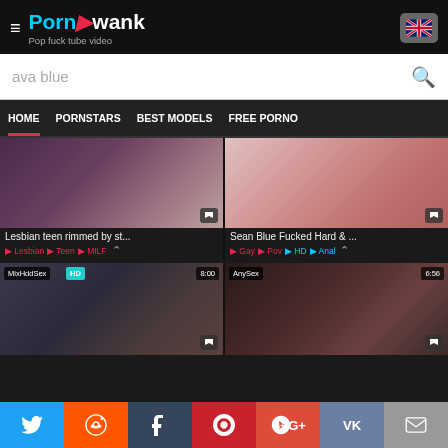PornAwank - Pop fuck tube video
ava blue
HOME  PORNSTARS  BEST MODELS  FREE PORNO
[Figure (screenshot): Video thumbnail 1: Lesbian teen rimmed by st...]
Lesbian teen rimmed by st...
Lesbian  Teen  MILF
[Figure (screenshot): Video thumbnail 2: Sean Blue Fucked Hard & ...]
Sean Blue Fucked Hard & ...
Gay  Pov  HD  Anal
[Figure (screenshot): Video thumbnail 3: MixHddSex HD 8:00]
[Figure (screenshot): Video thumbnail 4: AnySex 6:56]
Twitter Reddit Tumblr Pinterest G+ VK Email